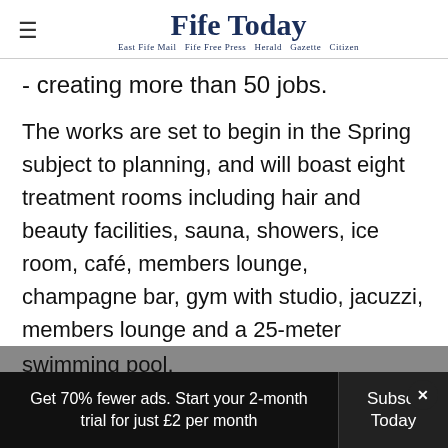Fife Today — East Fife Mail  Fife Free Press  Herald  Gazette  Citizen
- creating more than 50 jobs.
The works are set to begin in the Spring subject to planning, and will boast eight treatment rooms including hair and beauty facilities, sauna, showers, ice room, café, members lounge, champagne bar, gym with studio, jacuzzi, members lounge and a 25-meter swimming pool.
Get 70% fewer ads. Start your 2-month trial for just £2 per month  Subscribe Today